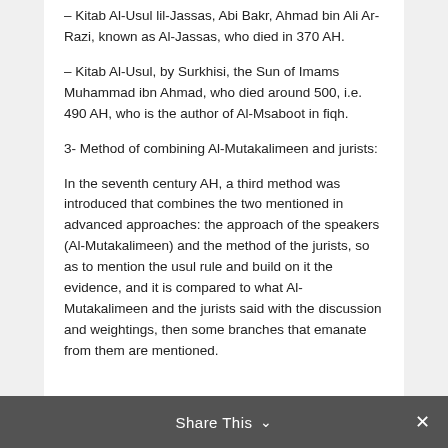– Kitab Al-Usul lil-Jassas, Abi Bakr, Ahmad bin Ali Ar-Razi, known as Al-Jassas, who died in 370 AH.
– Kitab Al-Usul, by Surkhisi, the Sun of Imams Muhammad ibn Ahmad, who died around 500, i.e. 490 AH, who is the author of Al-Msaboot in fiqh.
3- Method of combining Al-Mutakalimeen and jurists:
In the seventh century AH, a third method was introduced that combines the two mentioned in advanced approaches: the approach of the speakers (Al-Mutakalimeen) and the method of the jurists, so as to mention the usul rule and build on it the evidence, and it is compared to what Al-Mutakalimeen and the jurists said with the discussion and weightings, then some branches that emanate from them are mentioned.
Share This